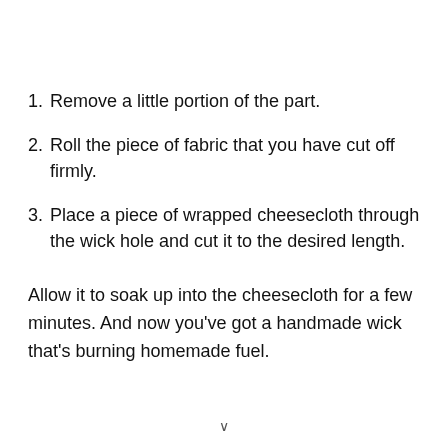1. Remove a little portion of the part.
2. Roll the piece of fabric that you have cut off firmly.
3. Place a piece of wrapped cheesecloth through the wick hole and cut it to the desired length.
Allow it to soak up into the cheesecloth for a few minutes. And now you've got a handmade wick that's burning homemade fuel.